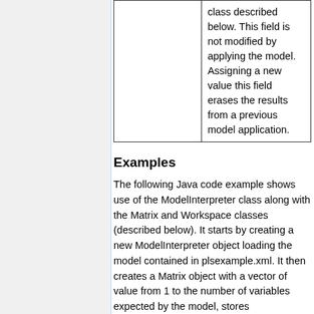|  | class described below. This field is not modified by applying the model. Assigning a new value this field erases the results from a previous model application. |
Examples
The following Java code example shows use of the ModelInterpreter class along with the Matrix and Workspace classes (described below). It starts by creating a new ModelInterpreter object loading the model contained in plsexample.xml. It then creates a Matrix object with a vector of value from 1 to the number of variables expected by the model, stores